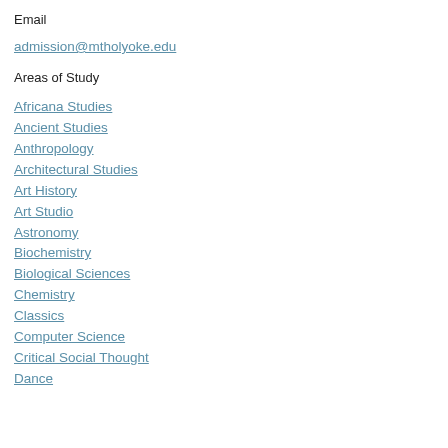Email
admission@mtholyoke.edu
Areas of Study
Africana Studies
Ancient Studies
Anthropology
Architectural Studies
Art History
Art Studio
Astronomy
Biochemistry
Biological Sciences
Chemistry
Classics
Computer Science
Critical Social Thought
Dance